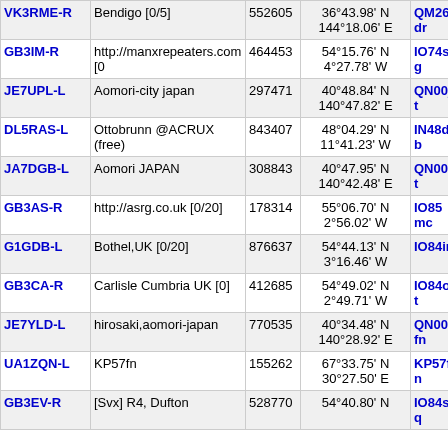| Callsign | Description | Node | Location | Grid | Freq |
| --- | --- | --- | --- | --- | --- |
| VK3RME-R | Bendigo [0/5] | 552605 | 36°43.98' N 144°18.06' E | QM26dr | 519 |
| GB3IM-R | http://manxrepeaters.com [0 | 464453 | 54°15.76' N 4°27.78' W | IO74sg | 519 |
| JE7UPL-L | Aomori-city japan | 297471 | 40°48.84' N 140°47.82' E | QN00jt | 520 |
| DL5RAS-L | Ottobrunn @ACRUX (free) | 843407 | 48°04.29' N 11°41.23' W | IN48db | 520 |
| JA7DGB-L | Aomori JAPAN | 308843 | 40°47.95' N 140°42.48' E | QN00it | 520 |
| GB3AS-R | http://asrg.co.uk [0/20] | 178314 | 55°06.70' N 2°56.02' W | IO85mc | 521 |
| G1GDB-L | Bothel,UK [0/20] | 876637 | 54°44.13' N 3°16.46' W | IO84ir | 521 |
| GB3CA-R | Carlisle Cumbria UK [0] | 412685 | 54°49.02' N 2°49.71' W | IO84ot | 522 |
| JE7YLD-L | hirosaki,aomori-japan | 770535 | 40°34.48' N 140°28.92' E | QN00fn | 522 |
| UA1ZQN-L | KP57fn | 155262 | 67°33.75' N 30°27.50' E | KP57fn | 523 |
| GB3EV-R | [Svx] R4, Dufton | 528770 | 54°40.80' N | IO84sq | 524 |